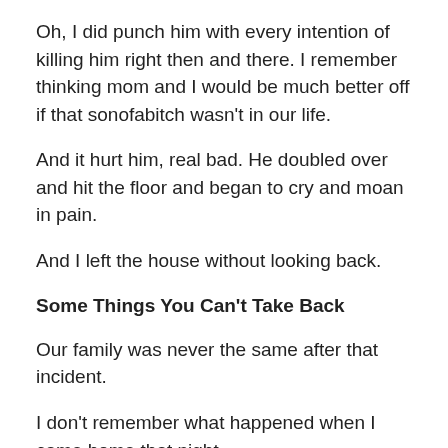Oh, I did punch him with every intention of killing him right then and there. I remember thinking mom and I would be much better off if that sonofabitch wasn't in our life.
And it hurt him, real bad. He doubled over and hit the floor and began to cry and moan in pain.
And I left the house without looking back.
Some Things You Can't Take Back
Our family was never the same after that incident.
I don't remember what happened when I came home that night.
My guess, we had fried chicken and ate in silence.
But I do remember neither of my parents ever looked at